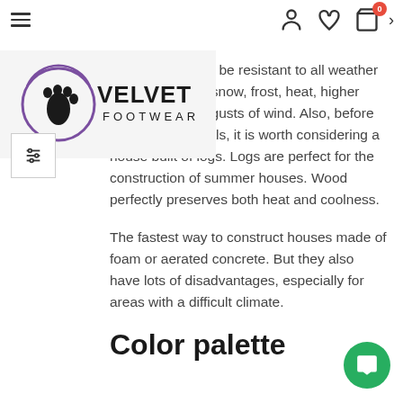Velvet Footwear - navigation header with logo, hamburger menu, user/wishlist/cart icons
The structure will be resistant to all weather conditions: rain, snow, frost, heat, higher humidity, strong gusts of wind. Also, before choosing materials, it is worth considering a house built of logs. Logs are perfect for the construction of summer houses. Wood perfectly preserves both heat and coolness.
The fastest way to construct houses made of foam or aerated concrete. But they also have lots of disadvantages, especially for areas with a difficult climate.
Color palette